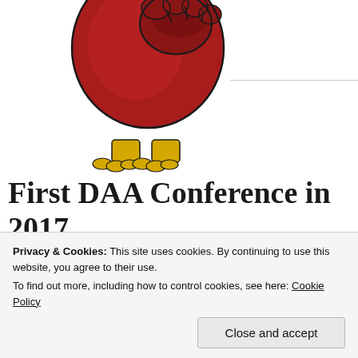[Figure (illustration): Partial view of a cartoon-style red bird character (bottom half visible) with yellow feet, cut off at top of page]
First DAA Conference in 2017
POSTED ON JULY 9, 2017
[Figure (photo): 2017 Re-Imagine Life with Dementia Conference, June 25-27, 2017 ~ Atlanta, GA, was an amazing experience for everyone. Two photos showing conference attendees with a Dementia Action Alliance banner.]
By that closing Town Hall, i f... only by how much we were ab... conference but by the future p...
Privacy & Cookies: This site uses cookies. By continuing to use this website, you agree to their use.
To find out more, including how to control cookies, see here: Cookie Policy
Close and accept